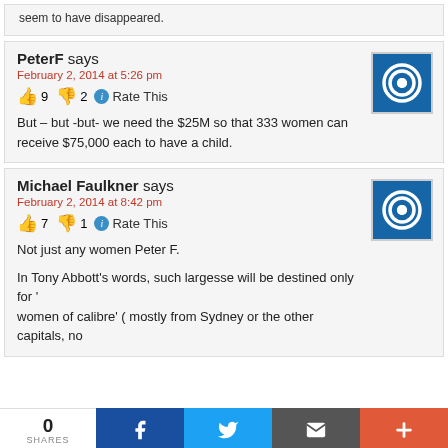seem to have disappeared.
PeterF says
February 2, 2014 at 5:26 pm
👍 9 👎 2 ℹ Rate This
But – but -but- we need the $25M so that 333 women can receive $75,000 each to have a child.
Michael Faulkner says
February 2, 2014 at 8:42 pm
👍 7 👎 1 ℹ Rate This
Not just any women Peter F.

In Tony Abbott's words, such largesse will be destined only for 'women of calibre' ( mostly from Sydney or the other capitals, no
0 SHARES